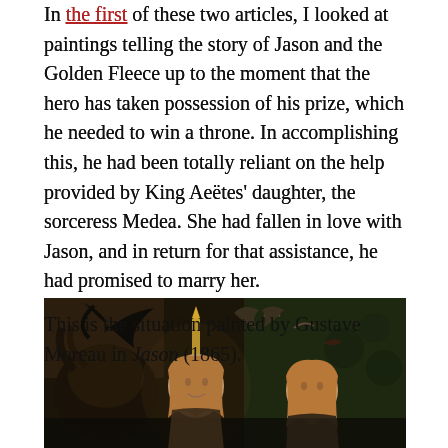In the first of these two articles, I looked at paintings telling the story of Jason and the Golden Fleece up to the moment that the hero has taken possession of his prize, which he needed to win a throne. In accomplishing this, he had been totally reliant on the help provided by King Aeëtes' daughter, the sorceress Medea. She had fallen in love with Jason, and in return for that assistance, he had promised to marry her.
This is the situation painted by Gustave Moreau in Jason (1865).
[Figure (photo): A detail from Gustave Moreau's painting Jason (1865), showing two figures with long reddish-blonde hair in a dark, atmospheric scene with birds and a ram's head visible in the background.]